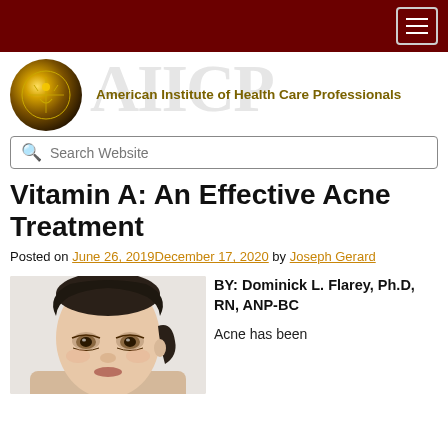American Institute of Health Care Professionals
Vitamin A: An Effective Acne Treatment
Posted on June 26, 2019December 17, 2020 by Joseph Gerard
[Figure (photo): Close-up photo of a woman's face with clear skin]
BY: Dominick L. Flarey, Ph.D, RN, ANP-BC
Acne has been